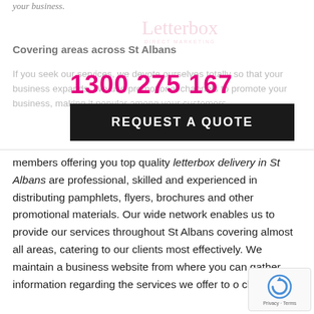your business.
Covering areas across St Albans
1300 275 167
REQUEST A QUOTE
If you seek our services, we devote ourselves totally so that your business expands. We use promotional channels to promote your business, making it popular among your customers. Our team members offering you top quality letterbox delivery in St Albans are professional, skilled and experienced in distributing pamphlets, flyers, brochures and other promotional materials. Our wide network enables us to provide our services throughout St Albans covering almost all areas, catering to our clients most effectively. We maintain a business website from where you can gather information regarding the services we offer to our clients.
[Figure (logo): Letterbox direct marketing watermark logo in pink/rose script style]
[Figure (other): Google reCAPTCHA widget showing robot icon and Privacy/Terms text]